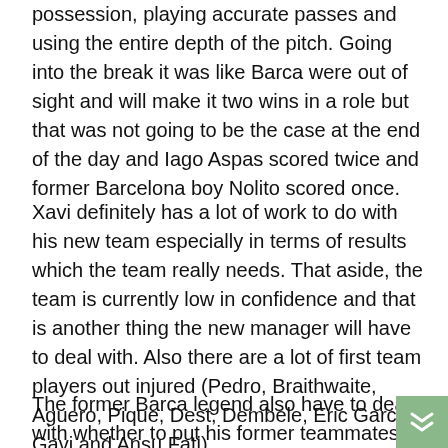possession, playing accurate passes and using the entire depth of the pitch. Going into the break it was like Barca were out of sight and will make it two wins in a role but that was not going to be the case at the end of the day and Iago Aspas scored twice and former Barcelona boy Nolito scored once.
Xavi definitely has a lot of work to do with his new team especially in terms of results which the team really needs. That aside, the team is currently low in confidence and that is another thing the new manager will have to deal with. Also there are a lot of first team players out injured (Pedro, Braithwaite, Aguero, Pique, Dest, Dembele, Eric Garcia, Gavi and Ansu Fati).
The former Barca legend also have to deal with whether to put his former teammates who are no longer what they